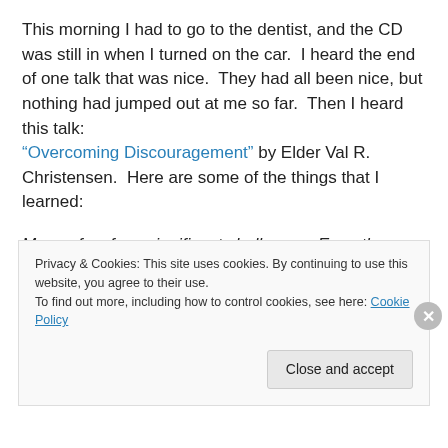This morning I had to go to the dentist, and the CD was still in when I turned on the car.  I heard the end of one talk that was nice.  They had all been nice, but nothing had jumped out at me so far.  Then I heard this talk: "Overcoming Discouragement" by Elder Val R. Christensen.  Here are some of the things that I learned:
Many of us face significant challenges. Even the great prophet Enoch experienced sadness when he viewed the wickedness of the world: “And as Enoch saw this, he had
Privacy & Cookies: This site uses cookies. By continuing to use this website, you agree to their use. To find out more, including how to control cookies, see here: Cookie Policy